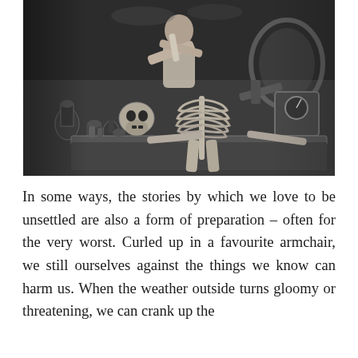[Figure (illustration): A black and white illustration depicting a scientist or scholar figure working over a skeleton laid on a table, surrounded by laboratory equipment, instruments, and various apparatus. The scene has a gothic, Victorian-era quality with dramatic lighting.]
In some ways, the stories by which we love to be unsettled are also a form of preparation – often for the very worst. Curled up in a favourite armchair, we still ourselves against the things we know can harm us. When the weather outside turns gloomy or threatening, we can crank up the